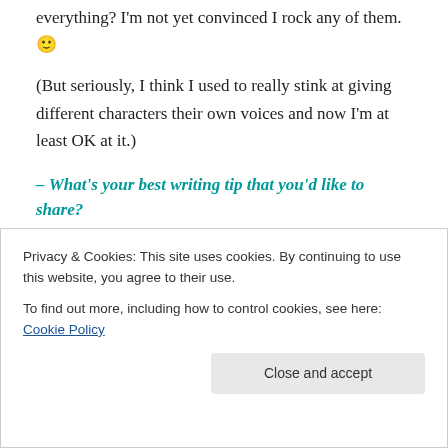everything? I'm not yet convinced I rock any of them. 🙂
(But seriously, I think I used to really stink at giving different characters their own voices and now I'm at least OK at it.)
– What's your best writing tip that you'd like to share?
Don't worry about genre. Don't think about where the book would be shelved in a bookstore or what categories it would have on Amazon. Those are important, sure, sort of, but they're not as important as writing a story that
all over the place,  guess what: readers love that.
Privacy & Cookies: This site uses cookies. By continuing to use this website, you agree to their use.
To find out more, including how to control cookies, see here: Cookie Policy